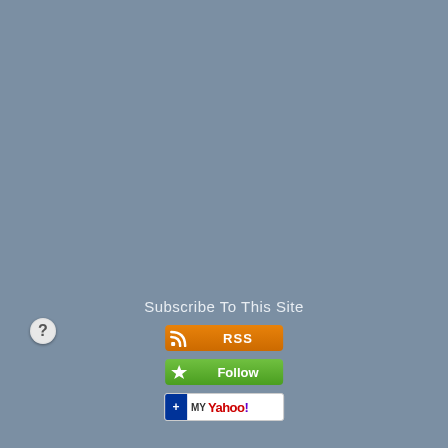[Figure (other): Gray-blue background filling the entire page]
[Figure (other): Circular question mark icon on the left side]
Subscribe To This Site
[Figure (other): RSS subscription button (orange with RSS text and Wi-Fi icon)]
[Figure (other): Follow button (green with follow text and feather icon)]
[Figure (other): My Yahoo! subscription button (white with blue plus, MY YAHOO! text)]